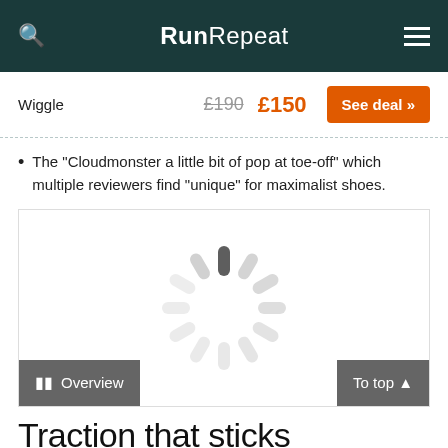RunRepeat
Wiggle  £190  £150  See deal »
The "Cloudmonster a little bit of pop at toe-off" which multiple reviewers find "unique" for maximalist shoes.
[Figure (other): Loading spinner animation placeholder in a white image area with dashed border]
Overview   To top ▲
Traction that sticks